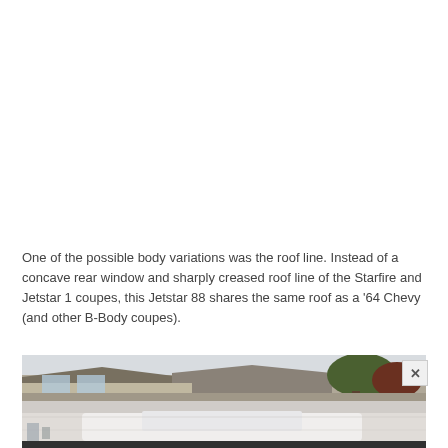One of the possible body variations was the roof line. Instead of a concave rear window and sharply creased roof line of the Starfire and Jetstar 1 coupes, this Jetstar 88 shares the same roof as a '64 Chevy (and other B-Body coupes).
[Figure (photo): Photograph of a house rooftop and yard scene, with a partially visible white car in the lower portion of the image. A close/x button overlay appears in the upper right of the image.]